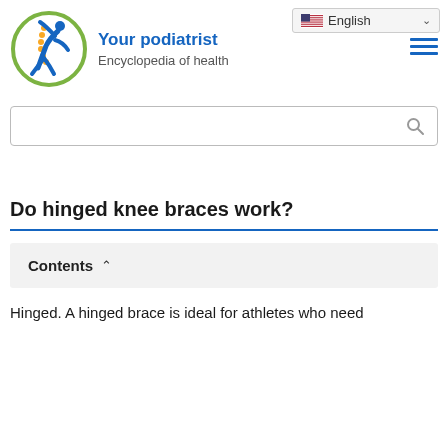[Figure (logo): Your podiatrist website logo: blue silhouette of a person running/jumping inside a green circle with yellow dots along the spine]
Your podiatrist
Encyclopedia of health
[Figure (screenshot): Language selector dropdown showing English with US flag and chevron, and hamburger menu icon]
[Figure (screenshot): Search bar with magnifying glass icon]
Do hinged knee braces work?
Contents
Hinged. A hinged brace is ideal for athletes who need